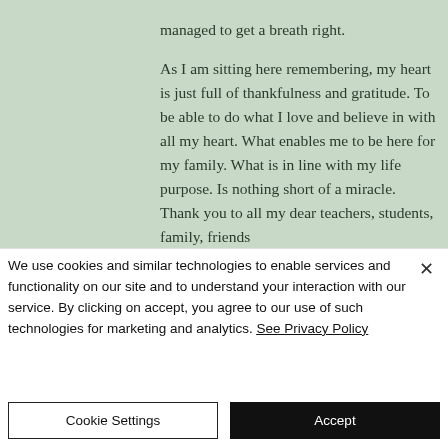managed to get a breath right.

As I am sitting here remembering, my heart is just full of thankfulness and gratitude. To be able to do what I love and believe in with all my heart. What enables me to be here for my family. What is in line with my life purpose. Is nothing short of a miracle. Thank you to all my dear teachers, students, family, friends
We use cookies and similar technologies to enable services and functionality on our site and to understand your interaction with our service. By clicking on accept, you agree to our use of such technologies for marketing and analytics. See Privacy Policy
Cookie Settings
Accept